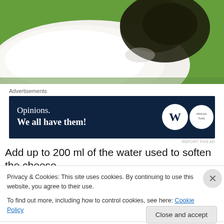[Figure (photo): Close-up photo of white creamy cheese with dark herb topping in a green container]
Advertisements
[Figure (other): Advertisement banner: Opinions. We all have them! with WordPress and Press This logos on dark navy background]
Add up to 200 ml of the water used to soften the cheese.
Privacy & Cookies: This site uses cookies. By continuing to use this website, you agree to their use.
To find out more, including how to control cookies, see here: Cookie Policy
Close and accept